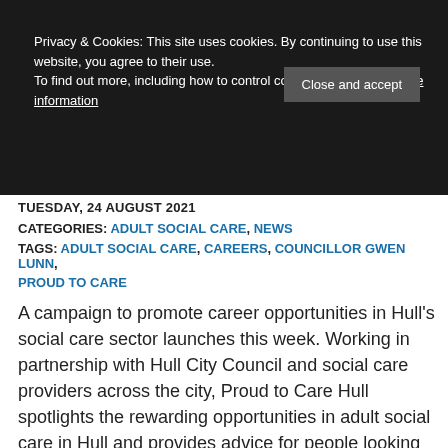Boost for the City's Social Care Sector as Proud to Care Hull Campaign Launches
Privacy & Cookies: This site uses cookies. By continuing to use this website, you agree to their use. To find out more, including how to control cookies, see here: Cookie information
TUESDAY, 24 AUGUST 2021
CATEGORIES: ADULT SOCIAL CARE, NEWS
TAGS: ADULT SOCIAL CARE, CAREERS, COUNCILLOR GWEN LUNN, PROUD TO CARE
A campaign to promote career opportunities in Hull's social care sector launches this week. Working in partnership with Hull City Council and social care providers across the city, Proud to Care Hull spotlights the rewarding opportunities in adult social care in Hull and provides advice for people looking to begin or further their career in the sector.